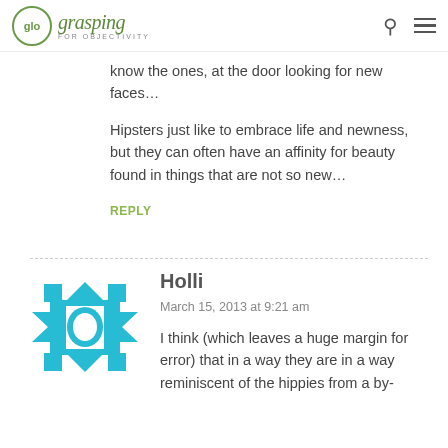glo grasping FOR OBJECTIVITY
know the ones, at the door looking for new faces…

Hipsters just like to embrace life and newness, but they can often have an affinity for beauty found in things that are not so new…
REPLY
Holli
March 15, 2013 at 9:21 am
I think (which leaves a huge margin for error) that in a way they are in a way reminiscent of the hippies from a by-